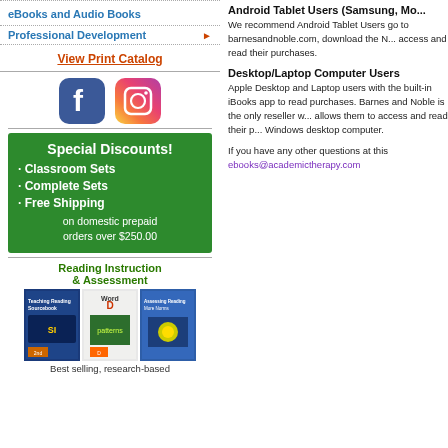eBooks and Audio Books
Professional Development
View Print Catalog
[Figure (logo): Facebook and Instagram social media icons]
[Figure (infographic): Green box: Special Discounts! • Classroom Sets • Complete Sets • Free Shipping on domestic prepaid orders over $250.00]
Reading Instruction & Assessment
[Figure (photo): Three book covers for Reading Instruction and Assessment products]
Best selling, research-based
Android Tablet Users (Samsung, Mo...
We recommend Android Tablet Users go to barnesandnoble.com, download the N... access and read their purchases.
Desktop/Laptop Computer Users
Apple Desktop and Laptop users with the built-in iBooks app to read purchases. Barnes and Noble is the only reseller w... allows them to access and read their p... Windows desktop computer.
If you have any other questions at this ebooks@academictherapy.com